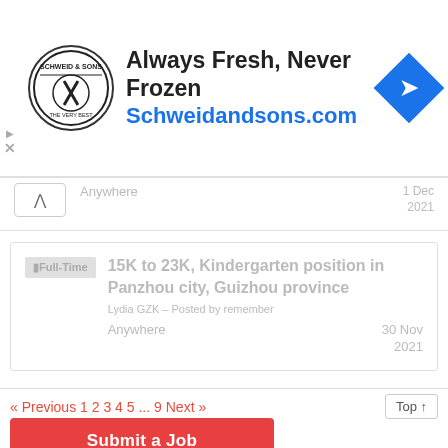[Figure (illustration): Advertisement banner for Schweid & Sons with circular logo, headline 'Always Fresh, Never Frozen', URL 'Schweidandsons.com', and blue diamond arrow icon]
Anywhere  1 Dec 2021
Full-Time | 15K to 23K, Kindergarten position in Panzhou city, Guizhou province
Lydia GZK – Posted by remember
Anywhere  30 Nov 2021
« Previous 1 2 3 4 5 ... 9 Next »  Top ↑
Submit a Job